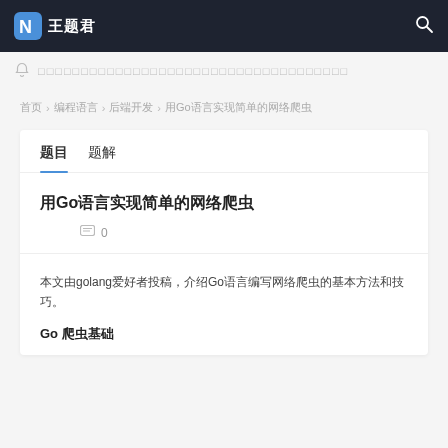王题君
（notice bar with bell icon and dotted text）
首页 > 编程语言 > 后端开发 > 用Go语言实现简单的网络爬虫
题目  题解
用Go语言实现简单的网络爬虫
💬 0
本文由golang爱好者投稿，介绍Go语言编写网络爬虫的基本方法和技巧。
Go 爬虫基础